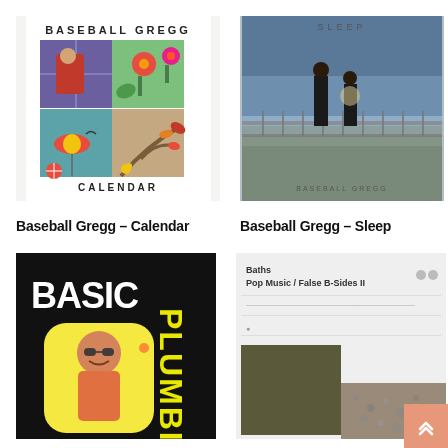[Figure (illustration): Album cover for Baseball Gregg - Calendar: illustrated art with four panels showing seasonal scenes, person in red plaid, beach scene, tree branch, flowers. Text reads BASEBALL GREGG at top and CALENDAR at bottom.]
[Figure (photo): Album cover for Baseball Gregg - Sleep: photo of two silhouetted figures standing on a bridge/railing at dusk/night with body of water behind them. Text reads SLEEP at top and BASEBALL GREGG at bottom.]
Baseball Gregg – Calendar
Baseball Gregg – Sleep
[Figure (illustration): Album cover for Basic Plumbing: black background with white bold text BASIC and yellow bold text PLUMBING vertically, with a rounded-square app icon showing a baby/child with glasses.]
[Figure (screenshot): Album for Baths - Pop Music / False B-Sides II: light gray background, text at top reads 'Baths / Pop Music / False B-Sides II', with a dark olive/khaki geometric shape and lower right portion showing gravel/stone texture.]